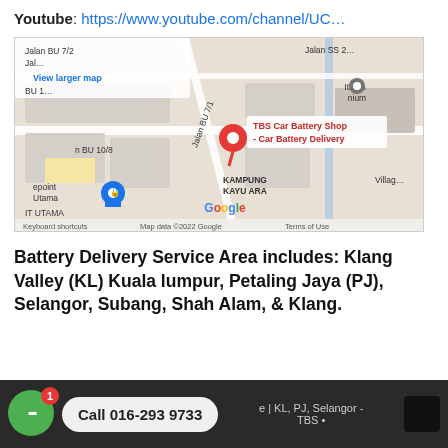Youtube: https://www.youtube.com/channel/UC…
[Figure (map): Google Maps screenshot showing TBS Car Battery Shop location in Bukit Utama area, with red pin marker and blue location pin for Bukit Utama. Shows streets including Jalan BU 7/2, Jalan SS 2, Jalan BU 10/8, Kampung Kayu Ara area. Includes 'View larger map' link and Google branding with Keyboard shortcuts, Map data ©2022 Google, Terms of Use.]
Battery Delivery Service Area includes: Klang Valley (KL) Kuala lumpur, Petaling Jaya (PJ), Selangor, Subang, Shah Alam, & Klang.
© … | KL, PJ, Selangor - TBS •  Call 016-293 9733